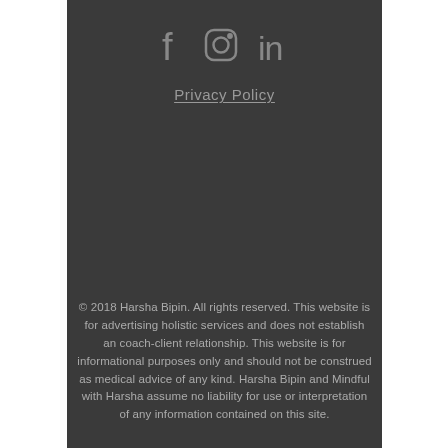[Figure (other): Social media icons: Facebook, Instagram, LinkedIn in grey on dark background]
Privacy Policy
© 2018  Harsha Bipin. All rights reserved. This website is for advertising holistic services and does not establish an coach-client relationship. This website is for informational purposes only and should not be construed as medical advice of any kind. Harsha Bipin and Mindful with Harsha assume no liability for use or interpretation of any information contained on this site.